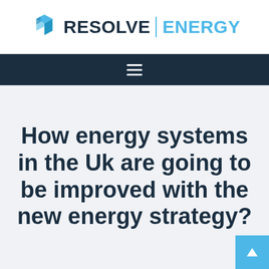Resolve Energy
[Figure (logo): Resolve Energy logo with geometric blue cube icon, 'RESOLVE' in dark navy bold text, vertical divider, and 'ENERGY' in blue text]
How energy systems in the Uk are going to be improved with the new energy strategy?